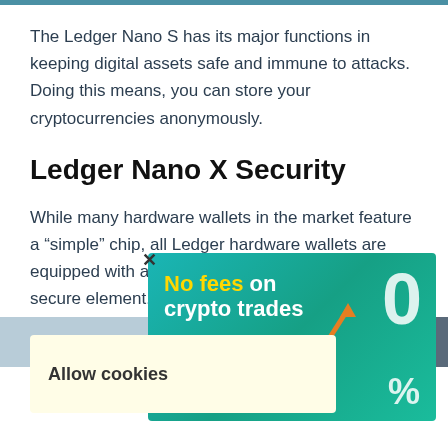The Ledger Nano S has its major functions in keeping digital assets safe and immune to attacks. Doing this means, you can store your cryptocurrencies anonymously.
Ledger Nano X Security
While many hardware wallets in the market feature a “simple” chip, all Ledger hardware wallets are equipped with a “smartcard chip”, which includes a secure element. This kind of chip is used for highly secure applications, such as protecting biometric data or...
[Figure (other): Advertisement banner: teal/green gradient background with text 'No fees on crypto trades' in white and yellow, orange arrow graphic, '0%' text, orange 'Install Now' button, with a close X button above.]
[Figure (other): Cookie consent banner with light yellow background showing 'Allow cookies' text.]
[Figure (photo): Partial image strip at the bottom of the page, appears to show a dark device image.]